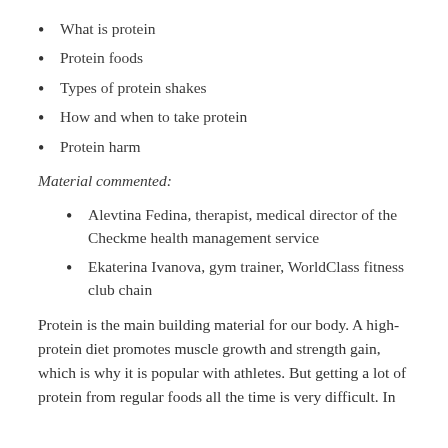What is protein
Protein foods
Types of protein shakes
How and when to take protein
Protein harm
Material commented:
Alevtina Fedina, therapist, medical director of the Checkme health management service
Ekaterina Ivanova, gym trainer, WorldClass fitness club chain
Protein is the main building material for our body. A high-protein diet promotes muscle growth and strength gain, which is why it is popular with athletes. But getting a lot of protein from regular foods all the time is very difficult. In